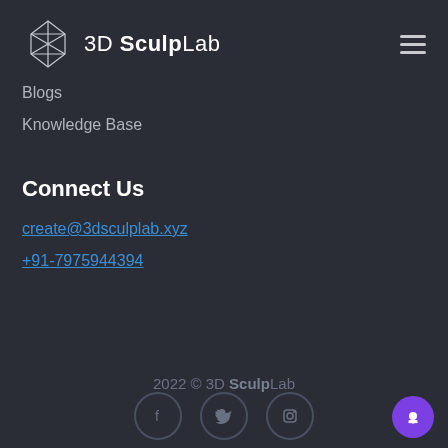[Figure (logo): 3D SculpLab logo with diamond/star wireframe icon and text '3D SculpLab']
Blogs
Knowledge Base
Connect Us
create@3dsculplab.xyz
+91-7975944394
2022 © 3D SculpLab
[Figure (illustration): Social media icons: Facebook, Twitter, Instagram in circular borders]
[Figure (illustration): Purple chat bubble icon in bottom right corner]